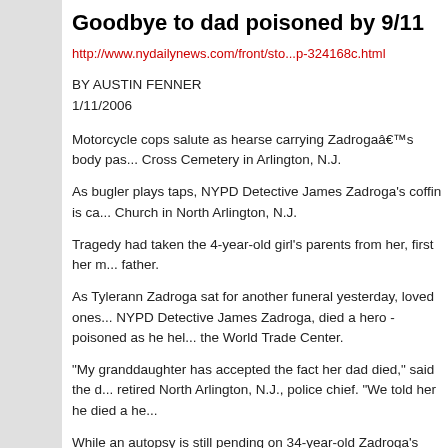Goodbye to dad poisoned by 9/11
http://www.nydailynews.com/front/sto...p-324168c.html
BY AUSTIN FENNER
1/11/2006
Motorcycle cops salute as hearse carrying Zadroga’s body pas... Cross Cemetery in Arlington, N.J.
As bugler plays taps, NYPD Detective James Zadroga's coffin is ca... Church in North Arlington, N.J.
Tragedy had taken the 4-year-old girl's parents from her, first her m... father.
As Tylerann Zadroga sat for another funeral yesterday, loved ones... NYPD Detective James Zadroga, died a hero - poisoned as he hel... the World Trade Center.
"My granddaughter has accepted the fact her dad died," said the d... retired North Arlington, N.J., police chief. "We told her he died a he...
While an autopsy is still pending on 34-year-old Zadroga's official c... him a tax-free disability pension of three-quarters pay in July 2004... said her son, who developed the infamous World Trade Center cou... having black lung disease.
Zadroga, who logged nearly 500 hours during the recovery effort a...